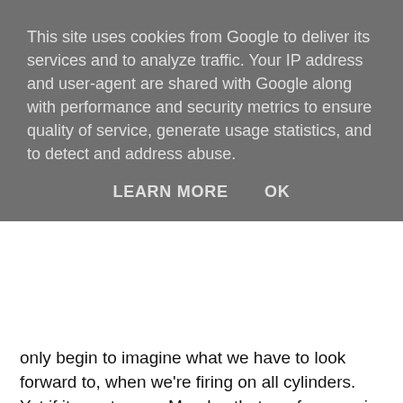This site uses cookies from Google to deliver its services and to analyze traffic. Your IP address and user-agent are shared with Google along with performance and security metrics to ensure quality of service, generate usage statistics, and to detect and address abuse.
LEARN MORE   OK
only begin to imagine what we have to look forward to, when we're firing on all cylinders. Yet if it was true on Monday that our far superior ability eventually began to tell, there are games on the fixture list in the none too distant future (with a fairly daunting December!), where we're unlikley to get away with it, unless all eleven can match the opposition with sufficient commitment and the sort of wholehearted attitude that will enable our ability advantage to come to the fore.
I am sure there were others (Kolo, Sagna etc.) but from my perspective there was only one Arsenal player on Monday night who demonstrated, without any doubt, that he was performing (as ever!) at 100 per cent. Whereas, for example, both myself and my mate beside me happened to notice a